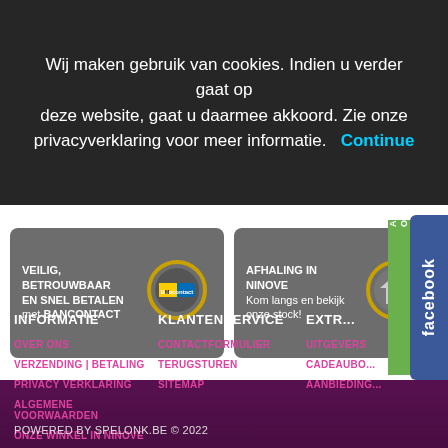Wij maken gebruik van cookies. Indien u verder gaat op deze website, gaat u daarmee akkoord. Zie onze privacyverklaring voor meer informatie. Continue
[Figure (screenshot): Website banners: 'VEILIG, BETROUWBAAR EN SNEL BETALEN met BANCONTACT' with Bancontact/Mister Cash logo, and 'AFHALING IN NINOVE - Kom langs en bekijk onze stock!' with house icon. Facebook tab on right.]
INFORMATIE
KLANTENSERVICE
EXTR...
OVER ONS
VERZENDING | BETALING
PRIVACY VERKLARING
ALGEMENE VOORWAARDEN
ONZE WINKEL IN NINOVE
CONTACTFORMULIER
TERUGSTUREN
SITEMAP
UITGEVERS
CADEAUBO...
AANBIEDING...
POWERED BY SPELONK.BE © 2022